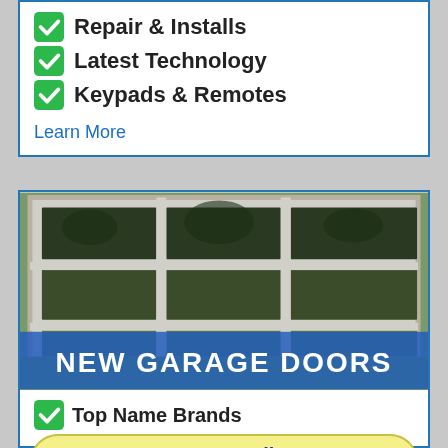Repair & Installs
Latest Technology
Keypads & Remotes
Learn More
[Figure (photo): Photo of a white-framed glass panel garage door reflecting trees/yard outside, with a blue banner overlay reading NEW GARAGE DOORS]
Top Name Brands
Tap to Call
(205) 634-8700
Same Day Installs